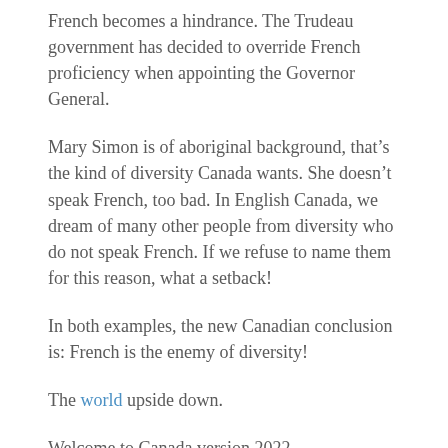French becomes a hindrance. The Trudeau government has decided to override French proficiency when appointing the Governor General.
Mary Simon is of aboriginal background, that’s the kind of diversity Canada wants. She doesn’t speak French, too bad. In English Canada, we dream of many other people from diversity who do not speak French. If we refuse to name them for this reason, what a setback!
In both examples, the new Canadian conclusion is: French is the enemy of diversity!
The world upside down.
Welcome to Canada version 2022.